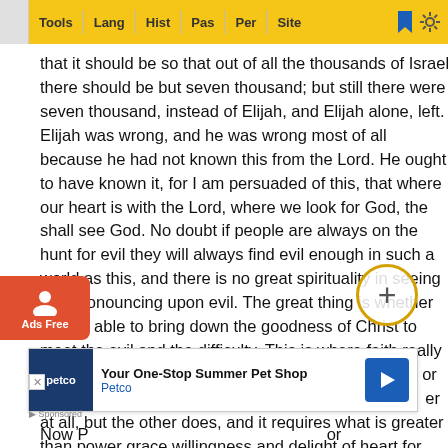Tools | Lang | Hist | Pas | Per | Site
that it should be so that out of all the thousands of Israel there should be but seven thousand; but still there were seven thousand, instead of Elijah, and Elijah alone, left. Elijah was wrong, and he was wrong most of all because he had not known this from the Lord. He ought to have known it, for I am persuaded of this, that where our heart is with the Lord, where we look for God, the shall see God. No doubt if people are always on the hunt for evil they will always find evil enough in such a world as this, and there is no great spirituality in seeing and pronouncing upon evil. The great thing is whether we are able to bring down the goodness of Christ to meet the evil and the difficulty. This is where faith really shows itself, not in finding fault only, and finding this or that that is not correct that is easy enough and requiring no great power at all, but the other does, and it requires what is greater than power grace willingness and delight of heart for that w
[Figure (screenshot): Ads Free button (orange, with person icon)]
[Figure (screenshot): Plus (+) button in golden circle]
[Figure (screenshot): Petco advertisement banner: Your One-Stop Summer Pet Shop]
Now P... or